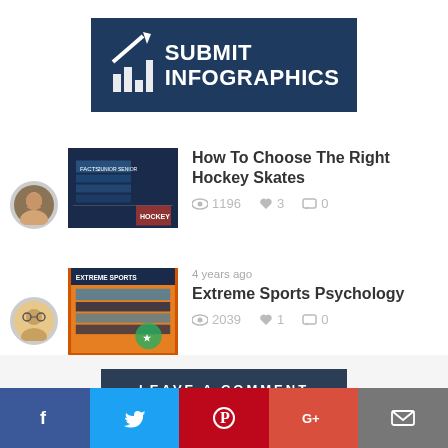[Figure (logo): Submit Infographics logo with dark blue background, arrow and bar chart icon on left, bold white text 'SUBMIT INFOGRAPHICS' on right]
[Figure (photo): Thumbnail of a hockey infographic with dark blue background and table/chart]
How To Choose The Right Hockey Skates
1196  3  0
[Figure (photo): Thumbnail of an extreme sports psychology infographic with orange and dark blue background]
4 years ago
Extreme Sports Psychology
2039  1  0
LEAVE A COMMENT
Comment:*